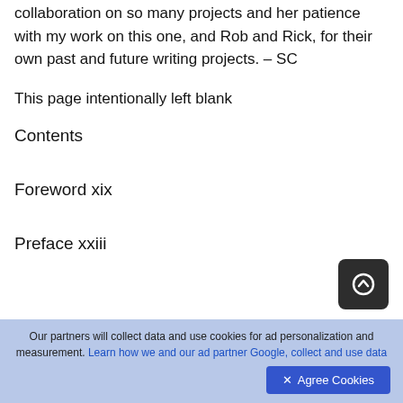collaboration on so many projects and her patience with my work on this one, and Rob and Rick, for their own past and future writing projects. – SC
This page intentionally left blank
Contents
Foreword xix
Preface xxiii